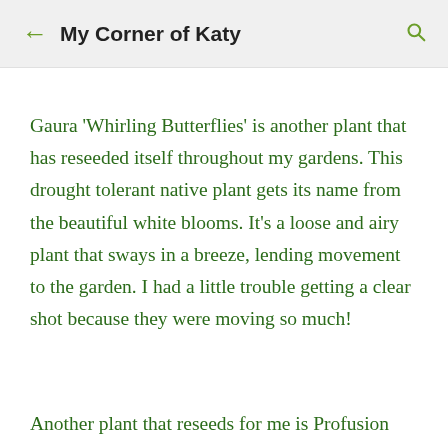My Corner of Katy
Gaura 'Whirling Butterflies' is another plant that has reseeded itself throughout my gardens. This drought tolerant native plant gets its name from the beautiful white blooms. It's a loose and airy plant that sways in a breeze, lending movement to the garden. I had a little trouble getting a clear shot because they were moving so much!
Another plant that reseeds for me is Profusion Apricot zinnia.